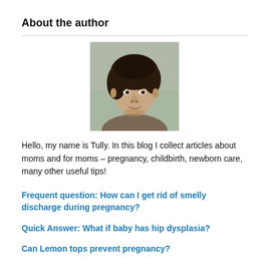About the author
[Figure (photo): Portrait photo of a young woman with short dark wavy hair, looking at the camera with a neutral expression, outdoors background.]
Hello, my name is Tully. In this blog I collect articles about moms and for moms – pregnancy, childbirth, newborn care, many other useful tips!
Frequent question: How can I get rid of smelly discharge during pregnancy?
Quick Answer: What if baby has hip dysplasia?
Can Lemon tops prevent pregnancy?